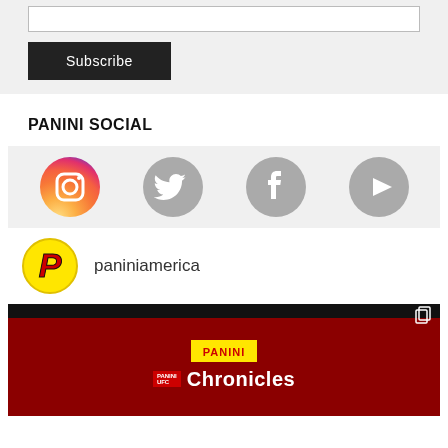[Figure (screenshot): Email subscription input box (white rectangle)]
[Figure (screenshot): Subscribe button (black background, white text)]
PANINI SOCIAL
[Figure (infographic): Social media icons: Instagram (colored), Twitter (gray), Facebook (gray), YouTube play button (gray)]
[Figure (logo): Panini America logo circle (yellow background, red P)]
paniniamerica
[Figure (photo): Panini Chronicles UFC trading card box product image on dark red background with UFC fighters]